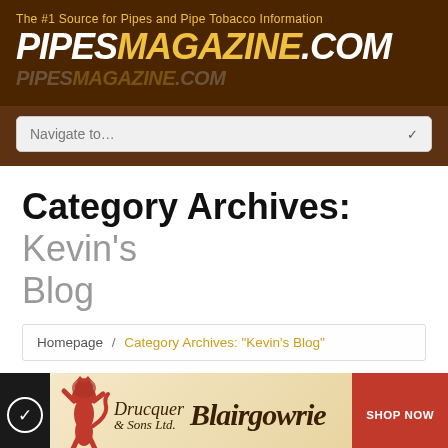The #1 Source for Pipes and Pipe Tobacco Information — PIPESMAGAZINE.COM
Navigate to…
Category Archives: Kevin's Blog
Homepage / Category Archives: "Kevin's Blog"
[Figure (screenshot): Drucquer & Sons Ltd. Blairgowrie advertisement banner with red lion logo and SHOP NOW button]